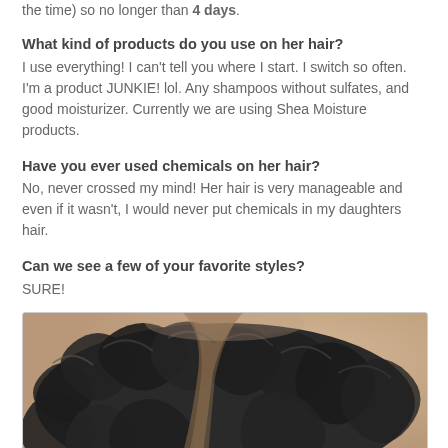the time) so no longer than 4 days.
What kind of products do you use on her hair?
I use everything! I can't tell you where I start. I switch so often. I'm a product JUNKIE! lol. Any shampoos without sulfates, and good moisturizer. Currently we are using Shea Moisture products.
Have you ever used chemicals on her hair?
No, never crossed my mind! Her hair is very manageable and even if it wasn't, I would never put chemicals in my daughters hair.
Can we see a few of your favorite styles?
SURE!
[Figure (photo): Close-up photo of a child's curly hair, showing dark curly/wavy hair texture with a parted section revealing lighter hair underneath, against a beige/tan background.]